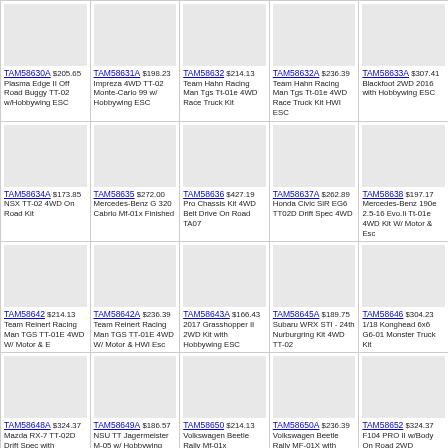| TAM58630A $205.65 Plasma Edge II Off Road Buggy TT-02 w/Hobbywing ESC | TAM58631A $198.23 Impreza 4WD TT-02 Monte-Carlo 99 w/ Hobbywing ESC | TAM58632 $214.13 Team Hahn Racing Man Tgs Tt-01e 4WD Race Truck Kit | TAM58632A $236.39 Team Hahn Racing Man Tgs Tt-01e 4WD Race Truck Kit HWI ESC | TAM58633A $307.41 Blackfoot 2WD 2016 with Hobbywing ESC |
| TAM58634A $173.85 NSX TT-02 4WD On Road Kit | TAM58635 $272.00 Mercedes-Benz G 320 Cabrio Mf-01x Finished | TAM58636 $427.19 Pro Chassis Kit 4WD Belt Drive On Road TA07 | TAM58637A $262.89 Honda Civic SiR EG6 TT02D Drift Spec 4WD | TAM58638 $197.17 Mercedes-Benz 190e 2.5-16 Evo.Ii Tt-01e 4WD Kit W/ Motor & Esc |
| TAM58642 $214.13 Team Reinert Racing Man TGS TT-01E 4WD W/ Motor & E | TAM58642A $236.39 Team Reinert Racing Man TGS TT-01E 4WD W/ Motor & HWI Esc | TAM58643A $166.43 2017 Grasshopper II 2WD Kit with Hobbywing ESC | TAM58645A $189.75 Subaru WRX STI - 24th Nurburgring Kit 4WD TT-02 | TAM58646 $304.23 1/18 Konghead 6x6 G6-01 Monster Truck Kit |
| TAM58648A $324.37 Mazda RX-7 TT-02D Drift Spec with Hobbywing ESC | TAM58649A $186.57 NSU TT Jagermeister M-05 w/ Hobbywing ESC | TAM58650 $214.13 Volkswagen Beetle Rally Mf-01x | TAM58650A $236.39 Volkswagen Beetle Rally MF-01X with Hobbywing ESC | TAM58652 $324.37 F104 PRO II w/Body On Road 2WD |